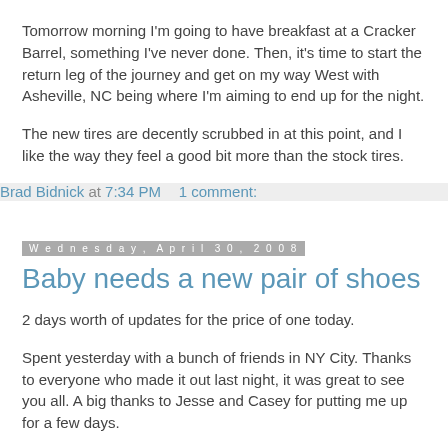Tomorrow morning I'm going to have breakfast at a Cracker Barrel, something I've never done. Then, it's time to start the return leg of the journey and get on my way West with Asheville, NC being where I'm aiming to end up for the night.
The new tires are decently scrubbed in at this point, and I like the way they feel a good bit more than the stock tires.
Brad Bidnick at 7:34 PM   1 comment:
Wednesday, April 30, 2008
Baby needs a new pair of shoes
2 days worth of updates for the price of one today.
Spent yesterday with a bunch of friends in NY City. Thanks to everyone who made it out last night, it was great to see you all. A big thanks to Jesse and Casey for putting me up for a few days.